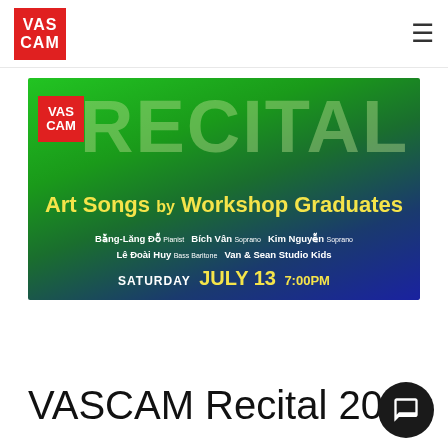VASCAM [logo] with hamburger menu
[Figure (illustration): VASCAM Recital promotional banner with green-to-blue gradient background, large faded 'RECITAL' text, VASCAM logo, yellow title 'Art Songs by Workshop Graduates', performer names (Bằng-Lăng Đỗ Pianist, Bích Vân Soprano, Kim Nguyễn Soprano, Lê Đoài Huy Bass Baritone, Van & Sean Studio Kids), and date Saturday July 13 7:00PM]
VASCAM Recital 2019